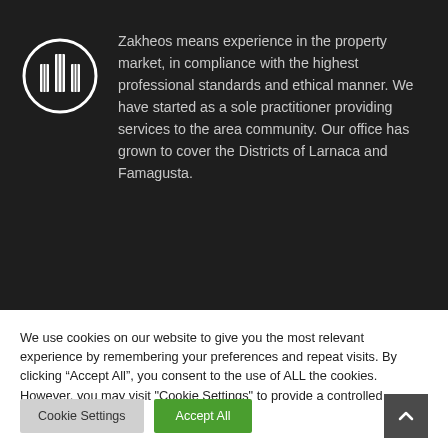[Figure (logo): Zakheos company logo: circular outline with abstract building/tower shapes inside, white on dark background]
Zakheos means experience in the property market, in compliance with the highest professional standards and ethical manner. We have started as a sole practitioner providing services to the area community. Our office has grown to cover the Districts of Larnaca and Famagusta.
We use cookies on our website to give you the most relevant experience by remembering your preferences and repeat visits. By clicking “Accept All”, you consent to the use of ALL the cookies. However, you may visit "Cookie Settings" to provide a controlled consent.